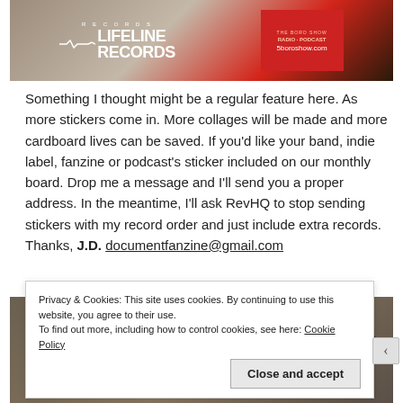[Figure (photo): Top photo showing stickers on a board including Lifeline Records logo and a red theboroshow.com sticker]
Something I thought might be a regular feature here. As more stickers come in. More collages will be made and more cardboard lives can be saved. If you'd like your band, indie label, fanzine or podcast's sticker included on our monthly board. Drop me a message and I'll send you a proper address. In the meantime, I'll ask RevHQ to stop sending stickers with my record order and just include extra records. Thanks, J.D. documentfanzine@gmail.com
[Figure (photo): Bottom photo showing stickers on a board including theboroshow, Archie Alone, The Front Bottoms, and Brick stickers]
Privacy & Cookies: This site uses cookies. By continuing to use this website, you agree to their use.
To find out more, including how to control cookies, see here: Cookie Policy
Close and accept